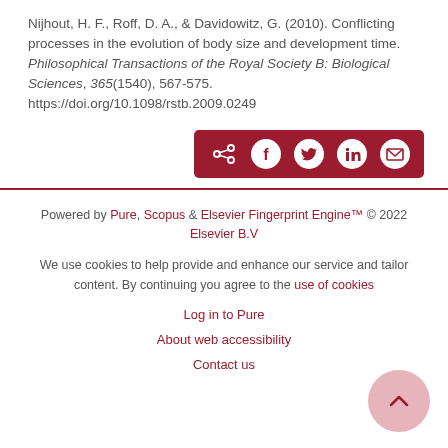Nijhout, H. F., Roff, D. A., & Davidowitz, G. (2010). Conflicting processes in the evolution of body size and development time. Philosophical Transactions of the Royal Society B: Biological Sciences, 365(1540), 567-575. https://doi.org/10.1098/rstb.2009.0249
[Figure (other): Social share bar with icons for share, Facebook, Twitter, LinkedIn, and email on a dark red background]
Powered by Pure, Scopus & Elsevier Fingerprint Engine™ © 2022 Elsevier B.V
We use cookies to help provide and enhance our service and tailor content. By continuing you agree to the use of cookies
Log in to Pure
About web accessibility
Contact us